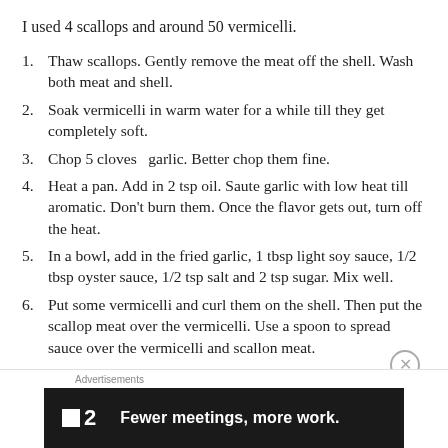I used 4 scallops and around 50 vermicelli.
Thaw scallops. Gently remove the meat off the shell. Wash both meat and shell.
Soak vermicelli in warm water for a while till they get completely soft.
Chop 5 cloves  garlic. Better chop them fine.
Heat a pan. Add in 2 tsp oil. Saute garlic with low heat till aromatic. Don't burn them. Once the flavor gets out, turn off the heat.
In a bowl, add in the fried garlic, 1 tbsp light soy sauce, 1/2 tbsp oyster sauce, 1/2 tsp salt and 2 tsp sugar. Mix well.
Put some vermicelli and curl them on the shell. Then put the scallop meat over the vermicelli. Use a spoon to spread sauce over the vermicelli and scallop meat.
Advertisements
[Figure (other): Advertisement banner: F2 logo with text 'Fewer meetings, more work.' on a dark background]